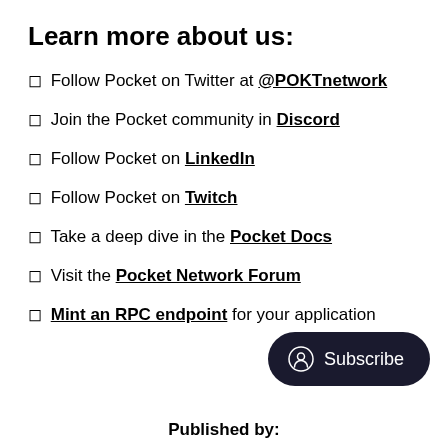Learn more about us:
◻ Follow Pocket on Twitter at @POKTnetwork
◻ Join the Pocket community in Discord
◻ Follow Pocket on LinkedIn
◻ Follow Pocket on Twitch
◻ Take a deep dive in the Pocket Docs
◻ Visit the Pocket Network Forum
◻ Mint an RPC endpoint for your application
Published by: